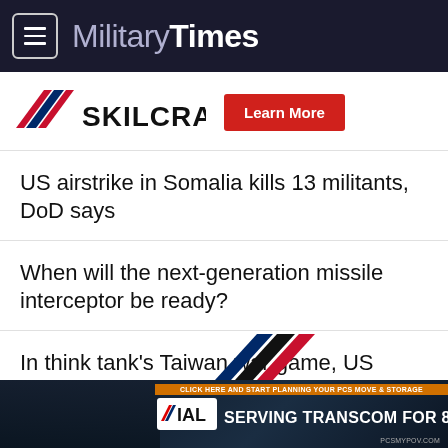MilitaryTimes
[Figure (logo): SKILCRAFT logo with diagonal stripe icon and Learn More red button]
US airstrike in Somalia kills 13 militants, DoD says
When will the next-generation missile interceptor be ready?
In think tank's Taiwan war game, US beats China at high cost
[Figure (logo): Partial logo with diagonal colored stripes (blue, black, red) at bottom]
[Figure (screenshot): Bottom advertisement banner: SERVING TRANSCOM FOR 8 YEARS, IAL logo, PCSMYPOV.COM]